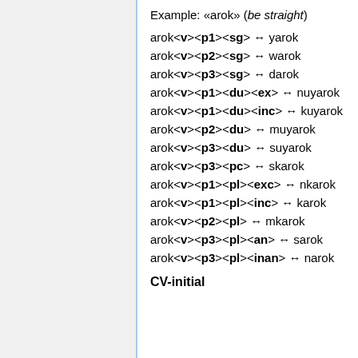Example: «arok» (be straight)
arok<v><p1><sg> → yarok
arok<v><p2><sg> → warok
arok<v><p3><sg> → darok
arok<v><p1><du><ex> → nuyarok
arok<v><p1><du><inc> → kuyarok
arok<v><p2><du> → muyarok
arok<v><p3><du> → suyarok
arok<v><p3><pc> → skarok
arok<v><p1><pl><exc> → nkarok
arok<v><p1><pl><inc> → karok
arok<v><p2><pl> → mkarok
arok<v><p3><pl><an> → sarok
arok<v><p3><pl><inan> → narok
CV-initial